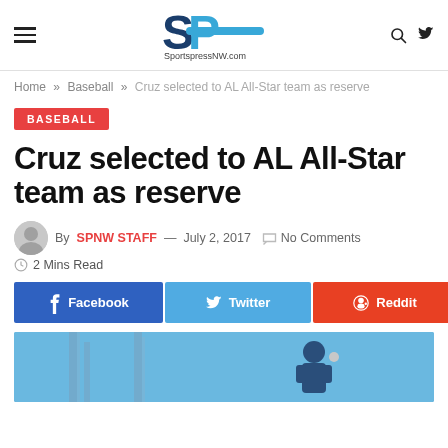SportspressNW.com
Home » Baseball » Cruz selected to AL All-Star team as reserve
BASEBALL
Cruz selected to AL All-Star team as reserve
By SPNW STAFF — July 2, 2017   No Comments   2 Mins Read
Facebook  Twitter  Reddit
[Figure (photo): Photo of a baseball player in blue uniform against a blue sky with structural towers in background]